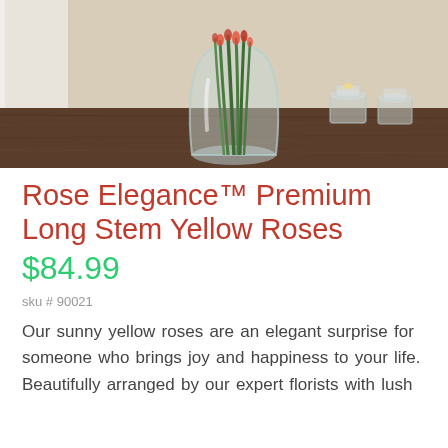[Figure (photo): A glass vase with green flower stems on a dark wooden table, with candle holders in the background against a cream wall.]
Rose Elegance™ Premium Long Stem Yellow Roses
$84.99
sku # 90021
Our sunny yellow roses are an elegant surprise for someone who brings joy and happiness to your life. Beautifully arranged by our expert florists with lush